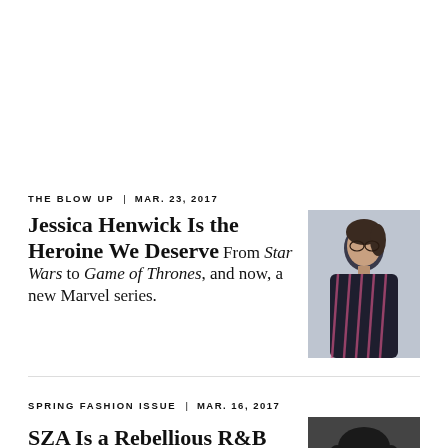THE BLOW UP  |  MAR. 23, 2017
Jessica Henwick Is the Heroine We Deserve  From Star Wars to Game of Thrones, and now, a new Marvel series.
[Figure (photo): Portrait photo of Jessica Henwick in a dark striped outfit against a light grey background]
SPRING FASHION ISSUE  |  MAR. 16, 2017
SZA Is a Rebellious R&B Sensation  Fitting in? Not really her thing.
[Figure (photo): Portrait photo of SZA with long dark hair against a dark background]